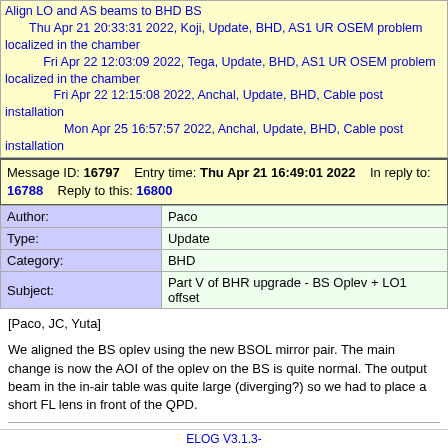Align LO and AS beams to BHD BS
Thu Apr 21 20:33:31 2022, Koji, Update, BHD, AS1 UR OSEM problem localized in the chamber
Fri Apr 22 12:03:09 2022, Tega, Update, BHD, AS1 UR OSEM problem localized in the chamber
Fri Apr 22 12:15:08 2022, Anchal, Update, BHD, Cable post installation
Mon Apr 25 16:57:57 2022, Anchal, Update, BHD, Cable post installation
Message ID: 16797    Entry time: Thu Apr 21 16:49:01 2022    In reply to: 16788    Reply to this: 16800
| Author: | Paco |
| --- | --- |
| Type: | Update |
| Category: | BHD |
| Subject: | Part V of BHR upgrade - BS Oplev + LO1 offset |
[Paco, JC, Yuta]

We aligned the BS oplev using the new BSOL mirror pair. The main change is now the AOI of the oplev on the BS is quite normal. The output beam in the in-air table was quite large (diverging?) so we had to place a short FL lens in front of the QPD.

Separately, I added the LO1 YAW offset of ~ -2500 counts (before the coil driver changes it was -24500 counts) and saw LO beam hitting LO2. This means the alignment of the LO beam can move downstream.
ELOG V3.1.3-